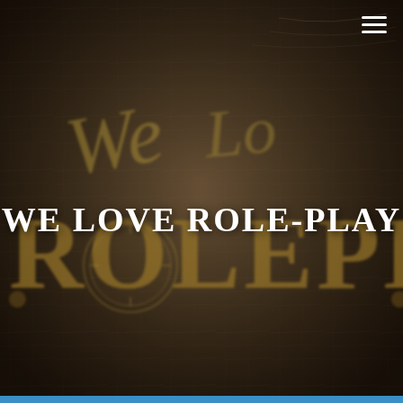[Figure (illustration): A blurred brown/tan background resembling an aged map or parchment texture, with a large stylized golden decorative logo text reading 'We Love Role-Play' or similar, partially visible in the background behind the white overlay text.]
WE LOVE ROLE-PLAY